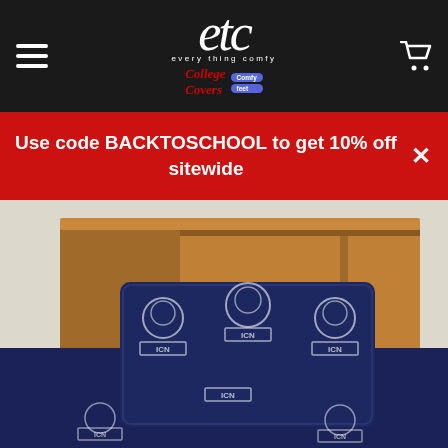[Figure (logo): Every Thing Comfy / College Covers logo with script ETC text and College Covers / Comfy Feet branding]
Use code BACKTOSCHOOL to get 10% off sitewide
[Figure (photo): Navy blue college-themed bedding set with repeating bulldog mascot logos and text patterns on a bed with a wooden headboard/bookcase]